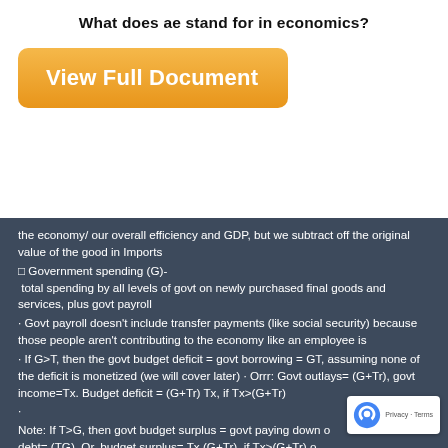What does ae stand for in economics?
[Figure (other): Orange 'View Full Document' button]
the economy/ our overall efficiency and GDP, but we subtract off the original value of the good in Imports
□ Government spending (G)- total spending by all levels of govt on newly purchased final goods and services, plus govt payroll
· Govt payroll doesn't include transfer payments (like social security) because those people aren't contributing to the economy like an employee is
· If G>T, then the govt budget deficit = govt borrowing = GT, assuming none of the deficit is monetized (we will cover later) · Orrr: Govt outlays= (G+Tr), govt income=Tx. Budget deficit = (G+Tr) Tx, if Tx>(G+Tr)
·
Note: If T>G, then govt budget surplus = govt paying down of debt= (TG). Or, budget surplus= Tx (G+Tr), if Tx>(G+Tr) o Remember Tr=transfers
o T= TxTr